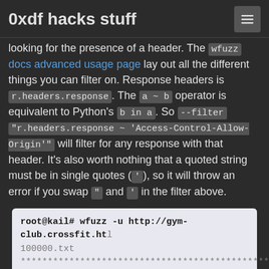0xdf hacks stuff
looking for the presence of a header. The wfuzz docs advanced usage page lay out all the different things you can filter on. Response headers is r.headers.response. The a ~ b operator is equivalent to Python's b in a. So --filter "r.headers.response ~ 'Access-Control-Allow-Origin'" will filter for any response with that header. It's also worth nothing that a quoted string must be in single quotes ('), so it will throw an error if you swap " and ' in the filter above.
[Figure (screenshot): Terminal showing wfuzz command: root@kail# wfuzz -u http://gym-club.crossfit.ht... 100000.txt followed by asterisk separator lines and Wfuzz 3.1.0 - The Web Fuzzer banner]